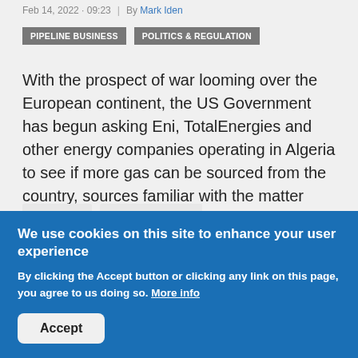Feb 14, 2022 · 09:23  |  By Mark Iden
PIPELINE BUSINESS   POLITICS & REGULATION
With the prospect of war looming over the European continent, the US Government has begun asking Eni, TotalEnergies and other energy companies operating in Algeria to see if more gas can be sourced from the country, sources familiar with the matter said.
Read more   Add new comment
We use cookies on this site to enhance your user experience
By clicking the Accept button or clicking any link on this page, you agree to us doing so. More info
Accept